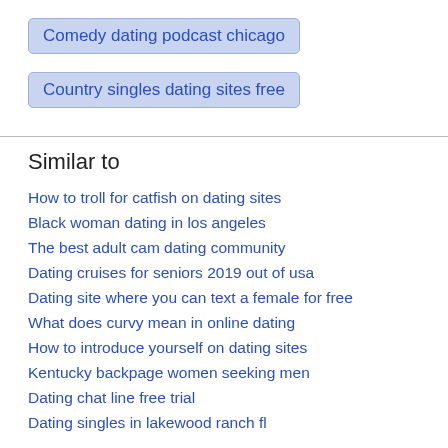Comedy dating podcast chicago
Country singles dating sites free
Similar to
How to troll for catfish on dating sites
Black woman dating in los angeles
The best adult cam dating community
Dating cruises for seniors 2019 out of usa
Dating site where you can text a female for free
What does curvy mean in online dating
How to introduce yourself on dating sites
Kentucky backpage women seeking men
Dating chat line free trial
Dating singles in lakewood ranch fl